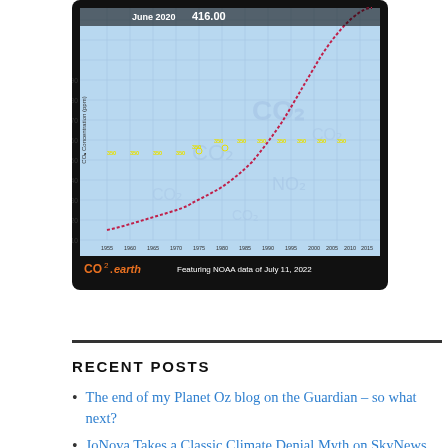[Figure (continuous-plot): CO2 concentration chart showing rising CO2 levels from 1955 to 2020, with 'June 2020 416.00' at top. Pink dotted curve rising from ~315 to ~416 ppm. Yellow '350' markers along the 350 ppm line. CO2.earth logo at bottom with 'Featuring NOAA data of July 11, 2022'.]
RECENT POSTS
The end of my Planet Oz blog on the Guardian – so what next?
JoNova Takes a Classic Climate Denial Myth on SkyNews Outsiders
How many things did Andrew Bolt get wrong about the sacking of climate contrarian Peter